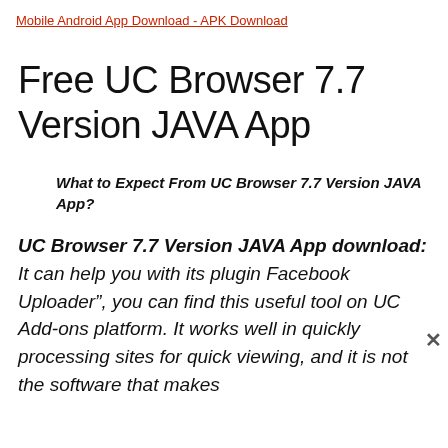Mobile Android App Download - APK Download
Free UC Browser 7.7 Version JAVA App
What to Expect From UC Browser 7.7 Version JAVA App?
UC Browser 7.7 Version JAVA App download: It can help you with its plugin Facebook Uploader”, you can find this useful tool on UC Add-ons platform. It works well in quickly processing sites for quick viewing, and it is not the software that makes